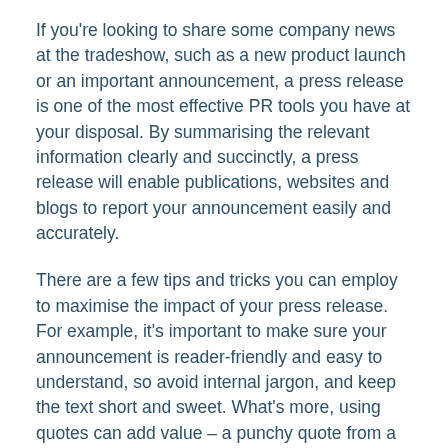If you're looking to share some company news at the tradeshow, such as a new product launch or an important announcement, a press release is one of the most effective PR tools you have at your disposal. By summarising the relevant information clearly and succinctly, a press release will enable publications, websites and blogs to report your announcement easily and accurately.
There are a few tips and tricks you can employ to maximise the impact of your press release. For example, it's important to make sure your announcement is reader-friendly and easy to understand, so avoid internal jargon, and keep the text short and sweet. What's more, using quotes can add value – a punchy quote from a customer or company expert can really add life to a piece. Additionally, if you're making an announcement about a new product, it's worth including images so the media have these readily available to publish if they wish.
Finally, press releases can also be used to encourage